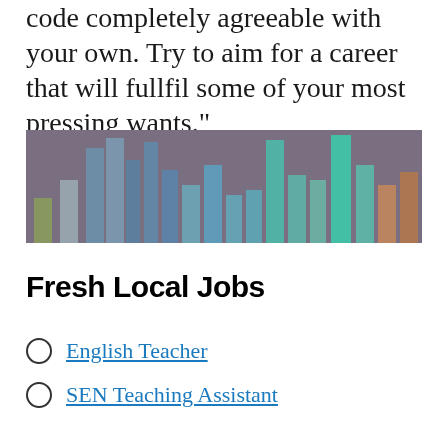code completely agreeable with your own. Try to aim for a career that will fullfil some of your most pressing wants."
[Figure (bar-chart): A grouped bar chart showing job/career category data with bars in muted purple, blue, teal, and olive/yellow tones against a dark purple/grey background. Individual bar values are not labeled.]
Fresh Local Jobs
English Teacher
SEN Teaching Assistant